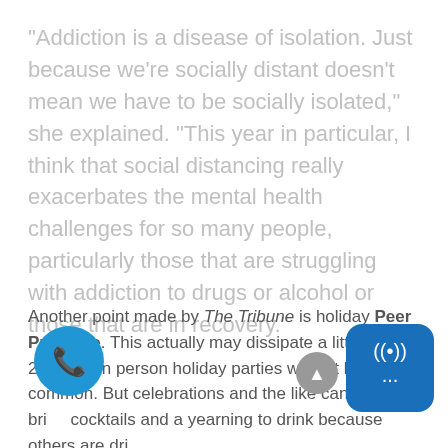“Addiction is a disease of isolation. Just because we’re socially distant doesn’t mean we have to be socially isolated,” she explained. “This year in particular, I think that social distancing really exacerbates the mental health challenges for so many people, particularly those that are struggling with addiction to drugs or alcohol or those that are in recovery.”
Another point made by The Tribune is holiday Peer Pressure. This actually may dissipate a little in 2020, as in person holiday parties will not be as common. But celebrations and the like can certainly bring cocktails and a yearning to drink because others are drinking.